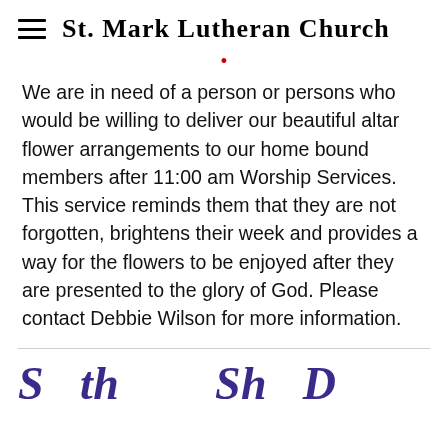St. Mark Lutheran Church
We are in need of a person or persons who would be willing to deliver our beautiful altar flower arrangements to our home bound members after 11:00 am Worship Services. This service reminds them that they are not forgotten, brightens their week and provides a way for the flowers to be enjoyed after they are presented to the glory of God. Please contact Debbie Wilson for more information.